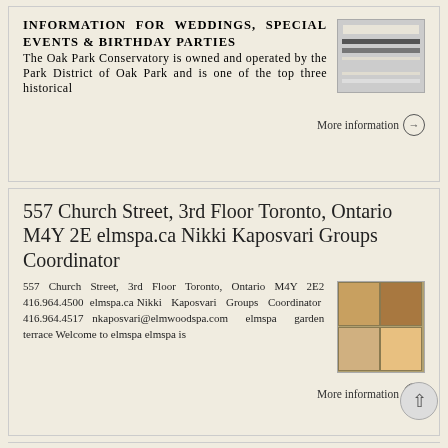INFORMATION FOR WEDDINGS, SPECIAL EVENTS & BIRTHDAY PARTIES The Oak Park Conservatory is owned and operated by the Park District of Oak Park and is one of the top three historical
More information →
557 Church Street, 3rd Floor Toronto, Ontario M4Y 2E elmspa.ca Nikki Kaposvari Groups Coordinator
557 Church Street, 3rd Floor Toronto, Ontario M4Y 2E2 416.964.4500 elmspa.ca Nikki Kaposvari Groups Coordinator 416.964.4517 nkaposvari@elmwoodspa.com elmspa garden terrace Welcome to elmspa elmspa is
More information →